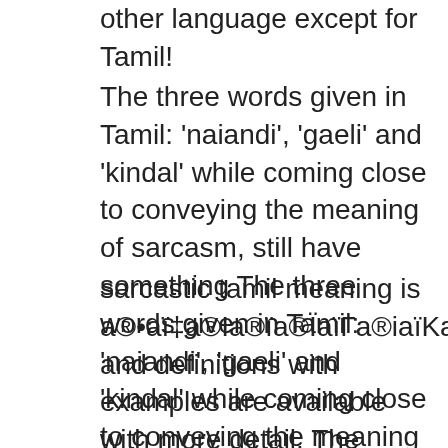other language except for Tamil!
The three words given in Tamil: 'naiandi', 'gaeli' and 'kindal' while coming close to conveying the meaning of sarcasm, still have something The three words given in Tamil: 'naiandi', 'gaeli' and 'kindal' while coming close to conveying the meaning of sarcasm, still have something
sarcastic tamil meaning is a®•aï‡a®Ia®ïa®ÏaïΓa®iaïKa®i and definitions with examples are available with more detail. The three words given in Tamil: 'naiandi', 'gaeli' and 'kindal' while coming close to conveying the meaning of sarcasm, still have